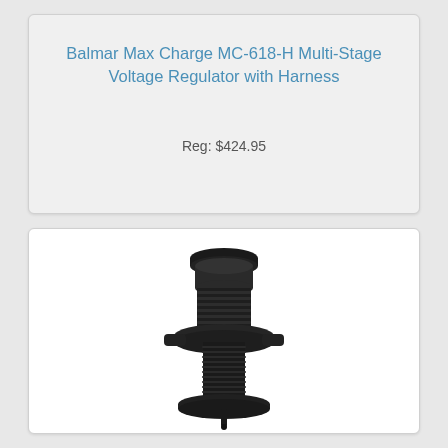Balmar Max Charge MC-618-H Multi-Stage Voltage Regulator with Harness
Reg: $424.95
[Figure (photo): Photo of a Balmar Max Charge MC-618-H Multi-Stage Voltage Regulator with Harness — a cylindrical black plastic electronic component with threaded body, ridged collar, mounting flanges, and a small pin at the bottom]